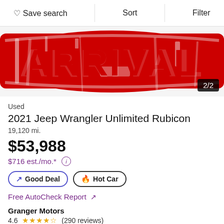Save search  Sort  Filter
[Figure (photo): Red ARRIVAL stamp/logo image used as car listing photo, showing text 'ARRIVAL' in large red distressed font on white background. Counter shows 2/2.]
Used
2021 Jeep Wrangler Unlimited Rubicon
19,120 mi.
$53,988
$716 est./mo.* ⓘ
↗ Good Deal  🔥 Hot Car
Free AutoCheck Report ↗
Granger Motors
4.6 ★★★★½ (290 reviews)
2 mi. from 50109